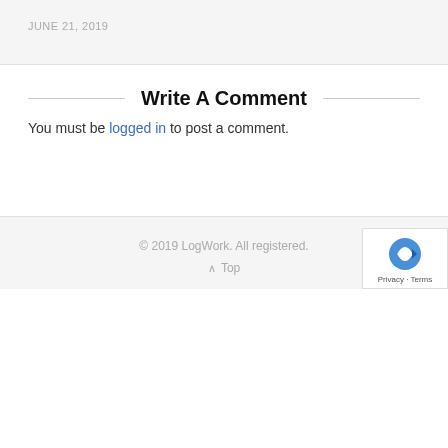JUNE 21, 2019
Write A Comment
You must be logged in to post a comment.
© 2019 LogWork. All registered.
^ Top